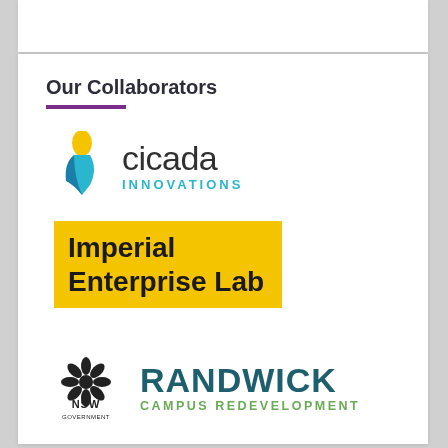Our Collaborators
[Figure (logo): Cicada Innovations logo — stylized blue/yellow teardrop icon with 'cicada' in dark text and 'INNOVATIONS' in cyan below]
[Figure (logo): Imperial Enterprise Lab logo — bold text on yellow/gold background]
[Figure (logo): NSW Government and Randwick Campus Redevelopment combined logo — NSW Government emblem on left, RANDWICK CAMPUS REDEVELOPMENT in teal/green on right]